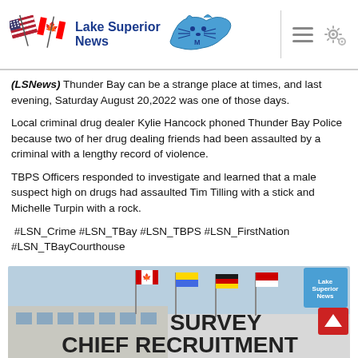Lake Superior News
(LSNews) Thunder Bay can be a strange place at times, and last evening, Saturday August 20,2022 was one of those days.
Local criminal drug dealer Kylie Hancock phoned Thunder Bay Police because two of her drug dealing friends had been assaulted by a criminal with a lengthy record of violence.
TBPS Officers responded to investigate and learned that a male suspect high on drugs had assaulted Tim Tilling with a stick and Michelle Turpin with a rock.
#LSN_Crime #LSN_TBay #LSN_TBPS #LSN_FirstNation #LSN_TBayCourthouse
[Figure (photo): Photo of a building with flags reading SURVEY CHIEF RECRUITMENT, with a Lake Superior News logo overlay in the top right corner]